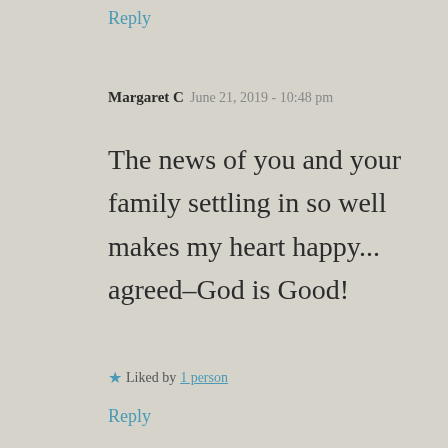Reply
Margaret C  June 21, 2019 - 10:48 pm
The news of you and your family settling in so well makes my heart happy... agreed–God is Good!
★ Liked by 1 person
Reply